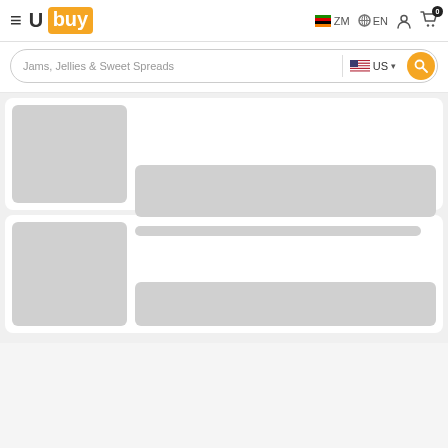Ubuy | ZM | EN | User | Cart (0)
Jams, Jellies & Sweet Spreads | US
[Figure (screenshot): Loading skeleton card 1 with gray image placeholder and gray content bars]
[Figure (screenshot): Loading skeleton card 2 with gray image placeholder, thin title bar and wider description bar]